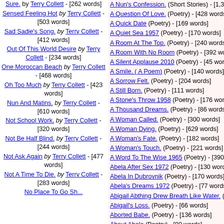Sure. by Terry Collett - [262 words]
Sensed Feeling Hot by Terry Collett - [503 words]
Sad Sadie's Song. by Terry Collett - [412 words]
Out Of This World Desire by Terry Collett - [234 words]
One Moroccan Beach by Terry Collett - [468 words]
Oh Too Much by Terry Collett - [423 words]
Nun And Matins. by Terry Collett - [610 words]
Not School Work. by Terry Collett - [320 words]
Not Be Half Blind. by Terry Collett - [244 words]
Not Ask Again by Terry Collett - [477 words]
Not A Time To Die. by Terry Collett - [283 words]
No Place To Go She...
A Nun's Confession. (Short Stories) - [1,365 words]
A Question Of Love. (Poetry) - [428 words]
A Quick Date (Poetry) - [169 words]
A Quiet Sea 1957 (Poetry) - [170 words]
A Room At The Top. (Poetry) - [240 words]
A Room With No Room (Poetry) - [392 words]
A Silent Applause 2010 (Poetry) - [45 words]
A Smile. ( A Poem) (Poetry) - [140 words]
A Sorrow Felt. (Poetry) - [204 words]
A Still Born. (Poetry) - [111 words]
A Stone's Throw 1958 (Poetry) - [176 words]
A Thousand Dreams. (Poetry) - [86 words]
A Woman Called. (Poetry) - [300 words]
A Woman Dying. (Poetry) - [629 words]
A Woman's Fate. (Poetry) - [182 words]
A Woman's Touch. (Poetry) - [221 words]
A Word To The Wise 1965 (Poetry) - [390 words]
Abela After Sex 1972 (Poetry) - [130 words]
Abela In Dubrovnik (Poetry) - [170 words]
Abela's Dreams 1972 (Poetry) - [77 words]
Abigail Abthing Drew Breath Like Water. (Poetry)
Abigail's Loss. (Poetry) - [66 words]
Aborted Babe. (Poetry) - [136 words]
About Abela (Poetry) - [80 words]
About To Begin Day 1958 (Poetry) - [154 words]
About Women. (Poetry) - [326 words]